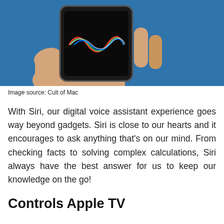[Figure (photo): A hand holding an iPhone with the Siri logo/waveform displayed on a dark screen, set against a blue background.]
Image source: Cult of Mac
With Siri, our digital voice assistant experience goes way beyond gadgets. Siri is close to our hearts and it encourages to ask anything that's on our mind. From checking facts to solving complex calculations, Siri always have the best answer for us to keep our knowledge on the go!
Controls Apple TV